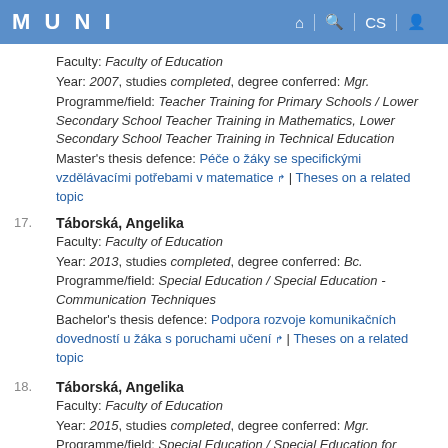MUNI
Faculty: Faculty of Education
Year: 2007, studies completed, degree conferred: Mgr.
Programme/field: Teacher Training for Primary Schools / Lower Secondary School Teacher Training in Mathematics, Lower Secondary School Teacher Training in Technical Education
Master's thesis defence: Péče o žáky se specifickými vzdělávacími potřebami v matematice | Theses on a related topic
17. Táborská, Angelika
Faculty: Faculty of Education
Year: 2013, studies completed, degree conferred: Bc.
Programme/field: Special Education / Special Education - Communication Techniques
Bachelor's thesis defence: Podpora rozvoje komunikačních dovedností u žáka s poruchami učení | Theses on a related topic
18. Táborská, Angelika
Faculty: Faculty of Education
Year: 2015, studies completed, degree conferred: Mgr.
Programme/field: Special Education / Special Education for...